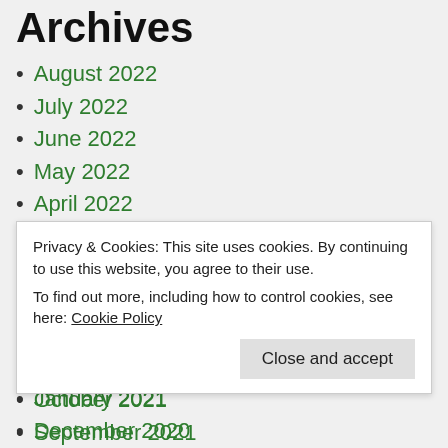Archives
August 2022
July 2022
June 2022
May 2022
April 2022
March 2022
February 2022
January 2022
December 2021
November 2021
October 2021
September 2021
August 2021
Privacy & Cookies: This site uses cookies. By continuing to use this website, you agree to their use. To find out more, including how to control cookies, see here: Cookie Policy
January 2021
December 2020